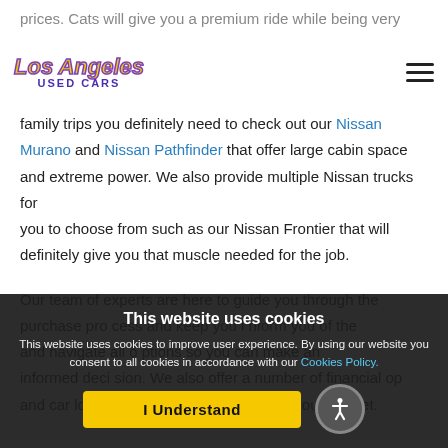Los Angeles Used Cars
Nissan Rogue models. If you seek a large SUV for those long family trips you definitely need to check out our Nissan Murano and Nissan Pathfinder that offer large cabin space and extreme power. We also provide multiple Nissan trucks for you to choose from such as our Nissan Frontier that will definitely give you that muscle needed for the job.
Our team of experts are here to guide you through the purchase process and keep you informed of the and navigate all options so you can make an informed decision. We also offer a number of financial options and car loans so that you can stay within your budget.
This website uses cookies
This website uses cookies to improve user experience. By using our website you consent to all cookies in accordance with our Cookies Policy.
I Understand